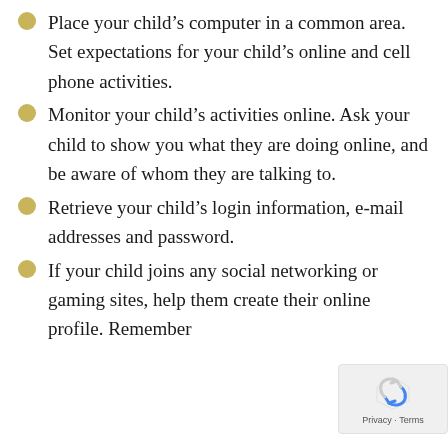Place your child’s computer in a common area. Set expectations for your child’s online and cell phone activities.
Monitor your child’s activities online. Ask your child to show you what they are doing online, and be aware of whom they are talking to.
Retrieve your child’s login information, e-mail addresses and password.
If your child joins any social networking or gaming sites, help them create their online profile. Remember